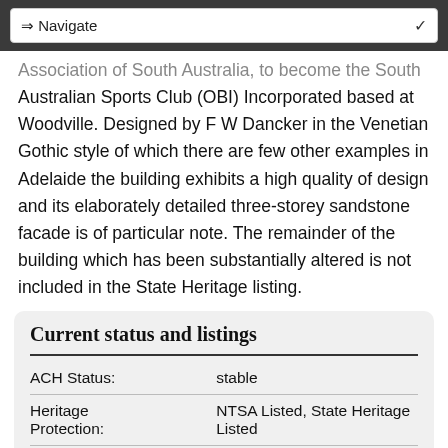⇒ Navigate
Association of South Australia, to become the South Australian Sports Club (OBI) Incorporated based at Woodville. Designed by F W Dancker in the Venetian Gothic style of which there are few other examples in Adelaide the building exhibits a high quality of design and its elaborately detailed three-storey sandstone facade is of particular note. The remainder of the building which has been substantially altered is not included in the State Heritage listing.
Current status and listings
|  |  |
| --- | --- |
| ACH Status: | stable |
| Heritage Protection: | NTSA Listed, State Heritage Listed |
| NTSA ID: | 1943 |
| State Heritage ID: | 10890 |